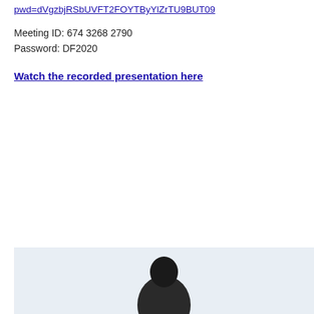pwd=dVgzbjRSbUVFT2FOYTByYlZrTU9BUT09
Meeting ID: 674 3268 2790
Password: DF2020
Watch the recorded presentation here
[Figure (photo): Bottom portion of a photo showing a person, cropped at the top of the image frame]